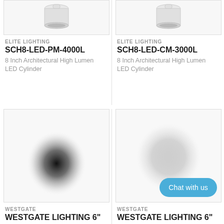[Figure (photo): White cylindrical LED ceiling light fixture viewed from below, product photo on light gray background]
ELITE LIGHTING
SCH8-LED-PM-4000L
8 Inch Architectural High Lumen LED Cylinder
[Figure (photo): White cylindrical LED ceiling light fixture, partial view on gray background]
ELITE LIGHTING
SCH8-LED-CM-3000L
8 Inch Architectural High Lumen LED Cylinder
[Figure (photo): Product image with dark radial blur/shadow effect on white background suggesting a pendant or cylinder light]
WESTGATE
WESTGATE LIGHTING 6"
[Figure (photo): Product image with light gray radial blur effect on white background, cylinder light with chat button overlay]
WESTGATE
WESTGATE LIGHTING 6"